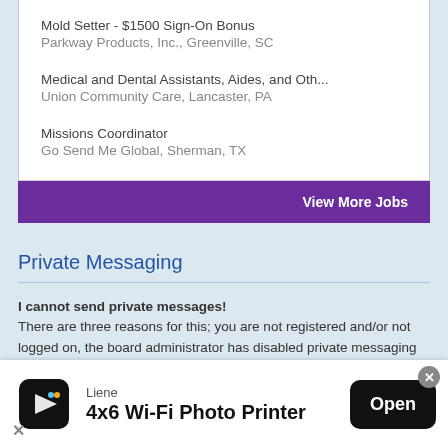Mold Setter - $1500 Sign-On Bonus
Parkway Products, Inc., Greenville, SC
Medical and Dental Assistants, Aides, and Oth...
Union Community Care, Lancaster, PA
Missions Coordinator
Go Send Me Global, Sherman, TX
View More Jobs
Private Messaging
I cannot send private messages!
There are three reasons for this; you are not registered and/or not logged on, the board administrator has disabled private messaging for the entire board, or the board administrator has prevented you from sending messages. Contact a board administrator for more information.
[Figure (infographic): Advertisement banner for Liene 4x6 Wi-Fi Photo Printer with Open button]